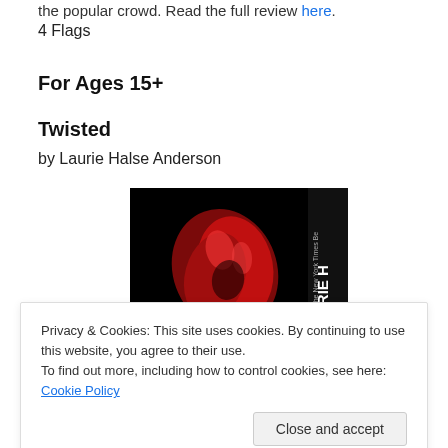the popular crowd. Read the full review here.
4 Flags
For Ages 15+
Twisted
by Laurie Halse Anderson
[Figure (photo): Book cover of 'Twisted' by Laurie Halse Anderson. Black background with a red twisted abstract shape and the author's name 'LAURIE H' visible on the right side in white text.]
Privacy & Cookies: This site uses cookies. By continuing to use this website, you agree to their use.
To find out more, including how to control cookies, see here: Cookie Policy
Close and accept